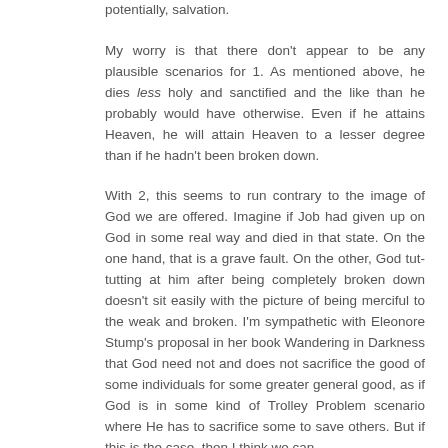potentially, salvation.
My worry is that there don't appear to be any plausible scenarios for 1. As mentioned above, he dies less holy and sanctified and the like than he probably would have otherwise. Even if he attains Heaven, he will attain Heaven to a lesser degree than if he hadn't been broken down.
With 2, this seems to run contrary to the image of God we are offered. Imagine if Job had given up on God in some real way and died in that state. On the one hand, that is a grave fault. On the other, God tut-tutting at him after being completely broken down doesn't sit easily with the picture of being merciful to the weak and broken. I'm sympathetic with Eleonore Stump's proposal in her book Wandering in Darkness that God need not and does not sacrifice the good of some individuals for some greater general good, as if God is in some kind of Trolley Problem scenario where He has to sacrifice some to save others. But if this is the case, then I think we can